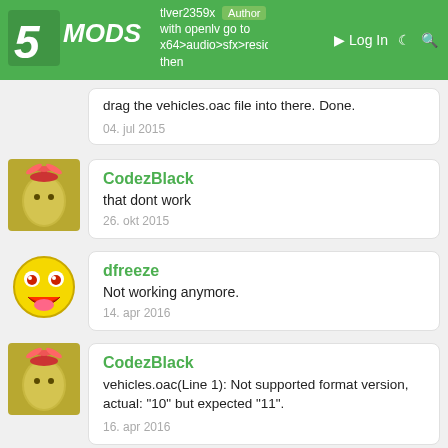5MODS | Log In
with openlv go to x64>audio>sfx>resident.rpf then drag the vehicles.oac file into there. Done.
04. jul 2015
CodezBlack
that dont work
26. okt 2015
dfreeze
Not working anymore.
14. apr 2016
CodezBlack
vehicles.oac(Line 1): Not supported format version, actual: "10" but expected "11".
16. apr 2016
Mik Saxy
@flver2359x can you help me how to modify on our...